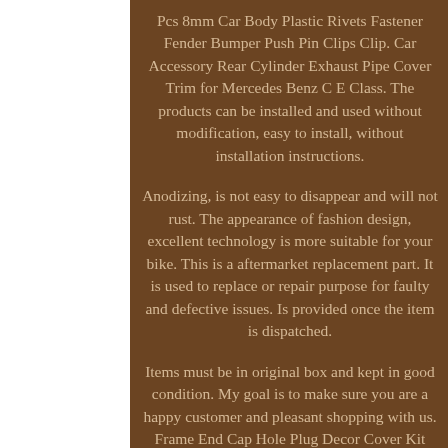Pcs 8mm Car Body Plastic Rivets Fastener Fender Bumper Push Pin Clips Clip. Car Accessory Rear Cylinder Exhaust Pipe Cover Trim for Mercedes Benz C E Class. The products can be installed and used without modification, easy to install, without installation instructions.
Anodizing, is not easy to disappear and will not rust. The appearance of fashion design, excellent technology is more suitable for your bike. This is a aftermarket replacement part. It is used to replace or repair purpose for faulty and defective issues. Is provided once the item is dispatched.
Items must be in original box and kept in good condition. My goal is to make sure you are a happy customer and pleasant shopping with us. Frame End Cap Hole Plug Decor Cover Kit For BMW R1200GS/Adventure R1250GS/ADV. Universal Car Rear Tail Box Light Bar LED Tailgate Brake Turn Signal